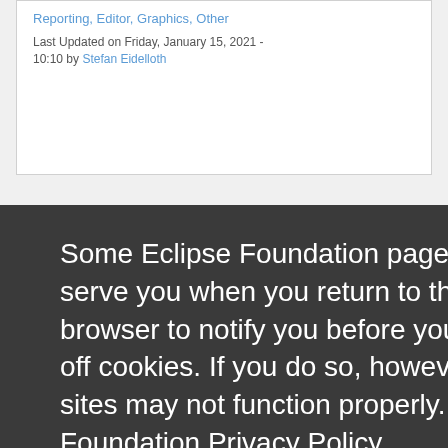Reporting, Editor, Graphics, Other
Last Updated on Friday, January 15, 2021 - 10:10 by Stefan Eidelloth
Some Eclipse Foundation pages use cookies to better serve you when you return to the site. You can set your browser to notify you before you receive a cookie or turn off cookies. If you do so, however, some areas of some sites may not function properly. To read Eclipse Foundation Privacy Policy click here.
Decline
Allow cookies
pxDoc